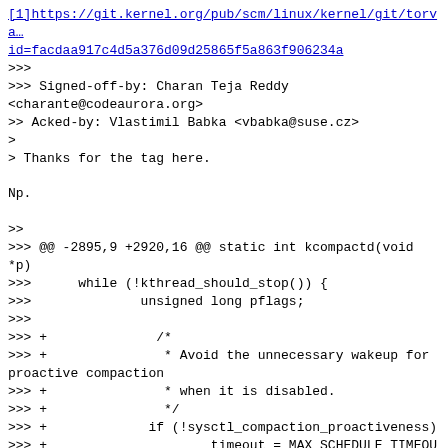[1]https://git.kernel.org/pub/scm/linux/kernel/git/torva…id=facdaa917c4d5a376d09d25865f5a863f906234a
>>>
>>> Signed-off-by: Charan Teja Reddy <charante@codeaurora.org>
>> Acked-by: Vlastimil Babka <vbabka@suse.cz>
>
> Thanks for the tag here.

Np.

>>
>>> @@ -2895,9 +2920,16 @@ static int kcompactd(void *p)
>>>      while (!kthread_should_stop()) {
>>>              unsigned long pflags;
>>>
>>> +              /*
>>> +               * Avoid the unnecessary wakeup for proactive compaction
>>> +               * when it is disabled.
>>> +               */
>>> +             if (!sysctl_compaction_proactiveness)
>>> +                     timeout = MAX_SCHEDULE_TIMEOUT;
>> Does this part actually logically belong more to your previous patch that
>> optimized the deferred timeouts?
>
> IMO, it won't fit there. Reason is that when user writes
> sysctl_compaction_proactiveness = 0, it will nee t…